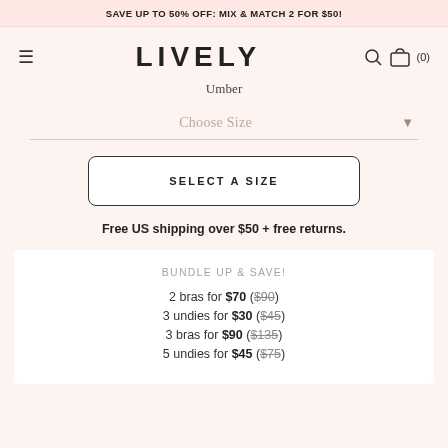SAVE UP TO 50% OFF: MIX & MATCH 2 FOR $50!
LIVELY
Umber
Choose Size
SELECT A SIZE
Free US shipping over $50 + free returns.
BUNDLE UP & SAVE!
2 bras for $70 ($90)
3 undies for $30 ($45)
3 bras for $90 ($135)
5 undies for $45 ($75)